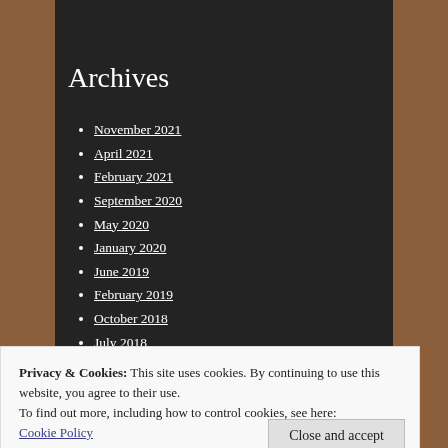Archives
November 2021
April 2021
February 2021
September 2020
May 2020
January 2020
June 2019
February 2019
October 2018
July 2018
February 2018
November 2017
July 2017
Privacy & Cookies: This site uses cookies. By continuing to use this website, you agree to their use.
To find out more, including how to control cookies, see here: Cookie Policy
Close and accept